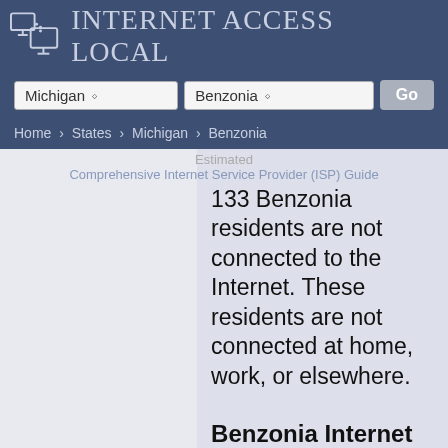Internet Access Local
Michigan | Benzonia | Go
Home › States › Michigan › Benzonia
Estimated
Comprehensive Internet Service Provider (ISP) Guide
133 Benzonia residents are not connected to the Internet. These residents are not connected at home, work, or elsewhere.
Benzonia Internet Availability [2]